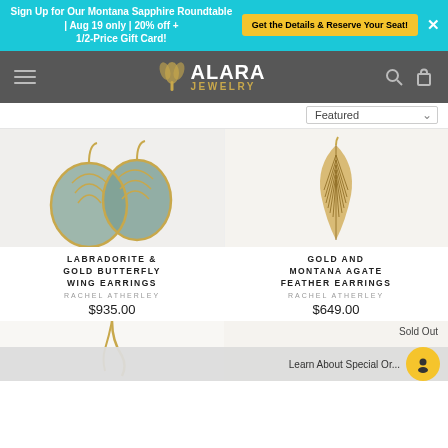Sign Up for Our Montana Sapphire Roundtable | Aug 19 only | 20% off + 1/2-Price Gift Card! Get the Details & Reserve Your Seat!
[Figure (logo): Alara Jewelry logo with ginkgo leaf icon]
Featured
[Figure (photo): Labradorite & Gold Butterfly Wing Earrings product photo]
[Figure (photo): Gold and Montana Agate Feather Earrings product photo]
LABRADORITE & GOLD BUTTERFLY WING EARRINGS
RACHEL ATHERLEY
$935.00
GOLD AND MONTANA AGATE FEATHER EARRINGS
RACHEL ATHERLEY
$649.00
Sold Out
[Figure (photo): Bottom product earring photo (partial)]
Learn About Special Or...